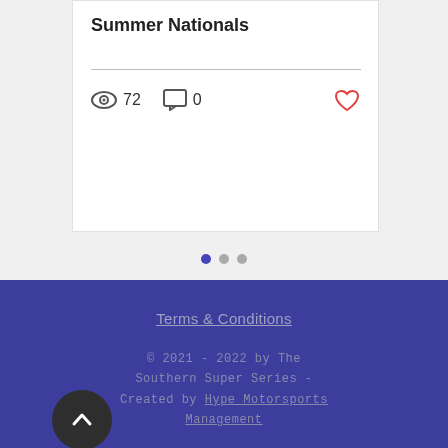Summer Nationals
72  0
Terms & Conditions
© 2021 - 2022 by The Southern Super Series - Created by Hype Motorsports Management
Back to top button (arrow up)